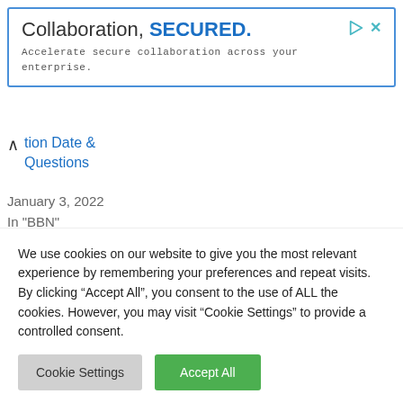[Figure (other): Advertisement banner with blue border. Text: 'Collaboration, SECURED.' and 'Accelerate secure collaboration across your enterprise.' with play and close icons.]
tion Date & Questions
January 3, 2022
In "BBN"
Related Posts:
1. Tecno Camon 13 & Pro Specification, Price & Release Date
We use cookies on our website to give you the most relevant experience by remembering your preferences and repeat visits. By clicking “Accept All”, you consent to the use of ALL the cookies. However, you may visit “Cookie Settings” to provide a controlled consent.